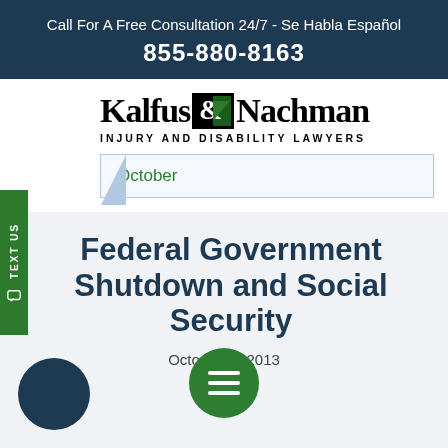Call For A Free Consultation 24/7 - Se Habla Español
855-880-8163
[Figure (logo): Kalfus & Nachman Injury and Disability Lawyers logo]
October
Federal Government Shutdown and Social Security
October 2013